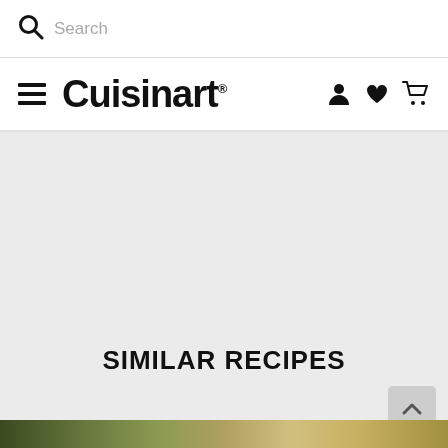Search
Cuisinart®
SIMILAR RECIPES
[Figure (photo): Partial view of food at the bottom of the page]